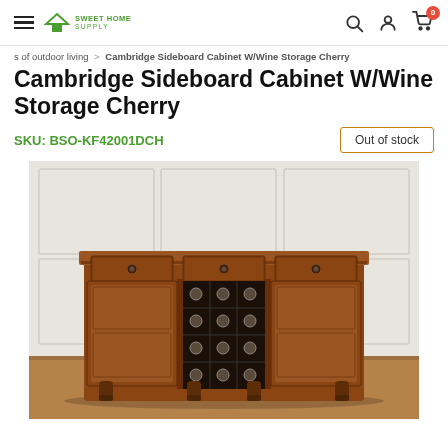Sweet Home Supply — navigation header with hamburger menu, logo, search, account, and cart icons
s of outdoor living > Cambridge Sideboard Cabinet W/Wine Storage Cherry
Cambridge Sideboard Cabinet W/Wine Storage Cherry
SKU: BSO-KF42001DCH
Out of stock
[Figure (photo): Cherry wood Cambridge Sideboard Cabinet with wine storage in the center, featuring two cabinet doors on left and right, three small drawers across the top, and a wine rack with multiple bottle slots in the center, displayed against a white paneled wall background on a hardwood floor.]